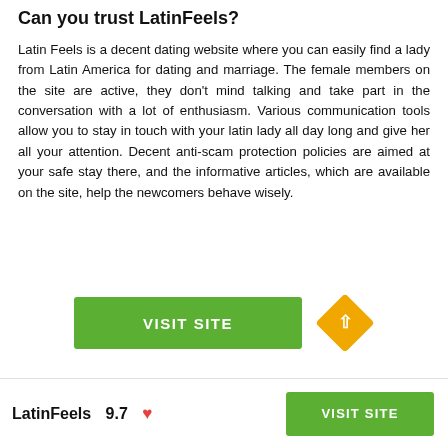Can you trust LatinFeels?
Latin Feels is a decent dating website where you can easily find a lady from Latin America for dating and marriage. The female members on the site are active, they don't mind talking and take part in the conversation with a lot of enthusiasm. Various communication tools allow you to stay in touch with your latin lady all day long and give her all your attention. Decent anti-scam protection policies are aimed at your safe stay there, and the informative articles, which are available on the site, help the newcomers behave wisely.
[Figure (other): Green VISIT SITE button and a gold diamond-shaped scroll-to-top button]
LatinFeels 9.7 ❤
[Figure (other): Green VISIT SITE button in footer]